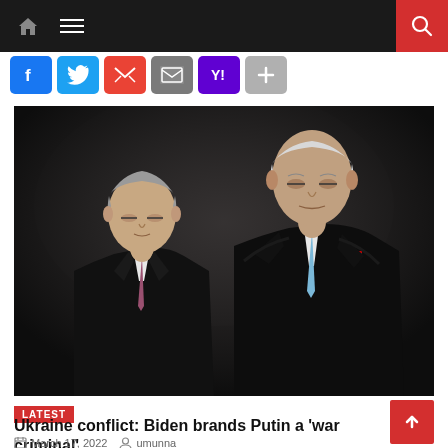Navigation bar with home icon, hamburger menu, and search button
[Figure (photo): Two men in dark suits standing side by side. The man on the left has short grey hair, eyes downcast, wearing a dark suit with a mauve/pink tie. The man on the right is taller, also in a dark suit with a light blue tie and American flag pin. The background is dark.]
LATEST
Ukraine conflict: Biden brands Putin a ‘war criminal’
March 17, 2022   umunna